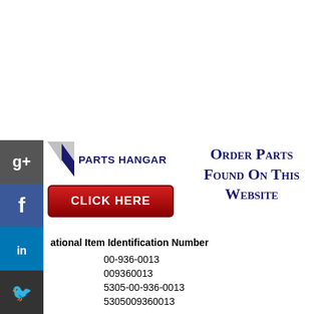[Figure (logo): Parts Hangar logo with triangle/flag icon and CLICK HERE red button, social media icons on left side bar]
Order Parts Found On This Website
ational Item Identification Number
00-936-0013
009360013
5305-00-936-0013
5305009360013